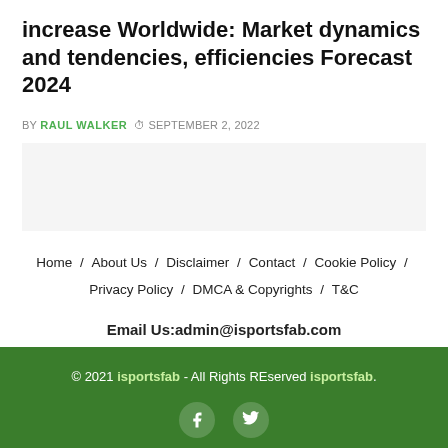increase Worldwide: Market dynamics and tendencies, efficiencies Forecast 2024
BY RAUL WALKER  SEPTEMBER 2, 2022
Home / About Us / Disclaimer / Contact / Cookie Policy / Privacy Policy / DMCA & Copyrights / T&C
Email Us:admin@isportsfab.com
© 2021 isportsfab - All Rights REserved isportsfab.